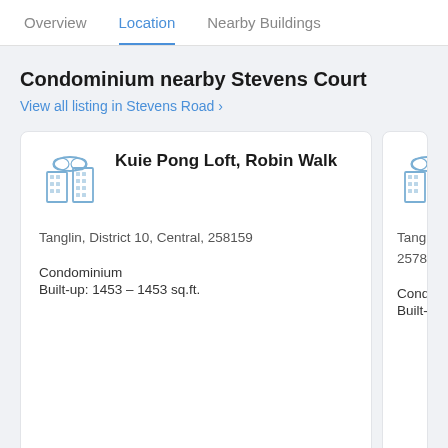Overview   Location   Nearby Buildings
Condominium nearby Stevens Court
View all listing in Stevens Road >
Kuie Pong Loft, Robin Walk
Tanglin, District 10, Central, 258159
Condominium
Built-up: 1453 – 1453 sq.ft.
The E[truncated] Road[truncated]
Tanglin[truncated] 25787[truncated]
Condo[truncated]
Built-u[truncated]